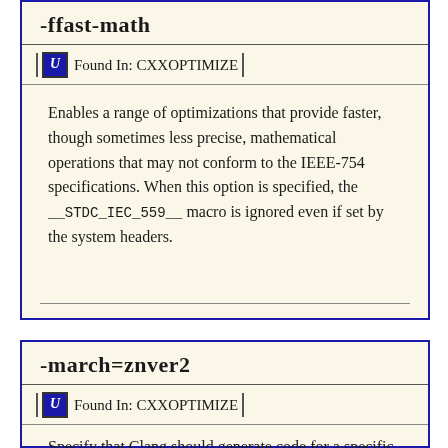-ffast-math
Found In: CXXOPTIMIZE
Enables a range of optimizations that provide faster, though sometimes less precise, mathematical operations that may not conform to the IEEE-754 specifications. When this option is specified, the __STDC_IEC_559__ macro is ignored even if set by the system headers.
-march=znver2
Found In: CXXOPTIMIZE
Specify that Clang should generate code for a specific processor family member or brand. For example, if if...